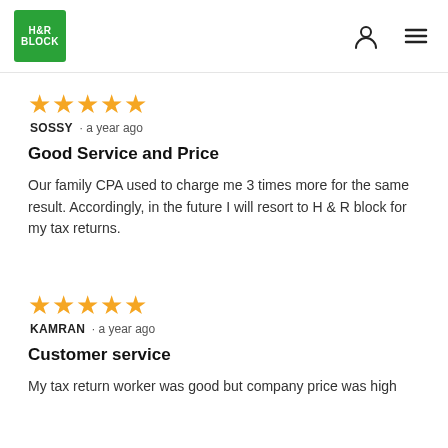H&R Block logo, user icon, menu icon
[Figure (logo): H&R Block green square logo with white text]
★★★★★
SOSSY · a year ago
Good Service and Price
Our family CPA used to charge me 3 times more for the same result. Accordingly, in the future I will resort to H & R block for my tax returns.
★★★★★
KAMRAN · a year ago
Customer service
My tax return worker was good but company price was high